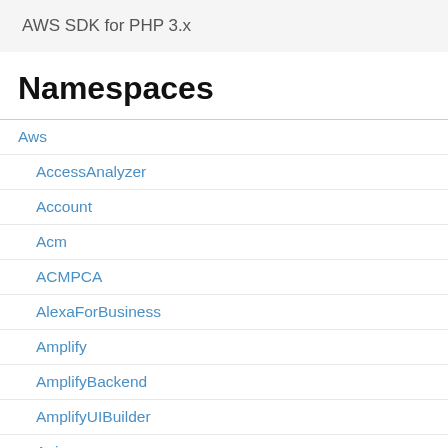AWS SDK for PHP 3.x
Namespaces
Aws
AccessAnalyzer
Account
Acm
ACMPCA
AlexaForBusiness
Amplify
AmplifyBackend
AmplifyUIBuilder
Api
ApiGateway
ApiGatewayManagementApi
delegatedAdminAccount...
Type: Array of structures
Details of the Amazon administrator of you
nextToken
Type: string
A token to use for p returned in the resp parameter to null fo action. For subsequ